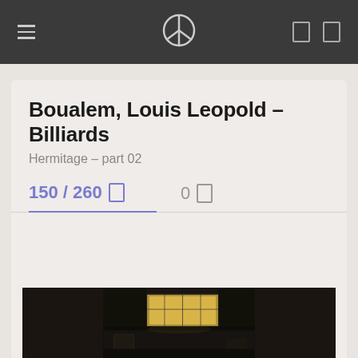Navigation bar with hamburger menu, peace symbol logo, and two icon buttons
Boualem, Louis Leopold – Billiards
Hermitage – part 02
150 / 260   0
[Figure (photo): Dark interior painting showing a billiards room with a skylight in the ceiling casting light downward, dark walls and furniture visible]